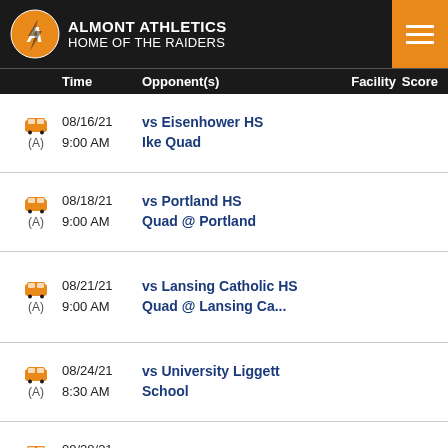ALMONT ATHLETICS HOME OF THE RAIDERS
|  | Time | Opponent(s) | Facility | Score |
| --- | --- | --- | --- | --- |
| (A) | 08/16/21
9:00 AM | vs Eisenhower HS
Ike Quad |  |  |
| (A) | 08/18/21
9:00 AM | vs Portland HS
Quad @ Portland |  |  |
| (A) | 08/21/21
9:00 AM | vs Lansing Catholic HS
Quad @ Lansing Ca... |  |  |
| (A) | 08/24/21
8:30 AM | vs University Liggett School |  |  |
| (A) | 08/28/21
8:00 AM | vs St. Clair HS |  |  |